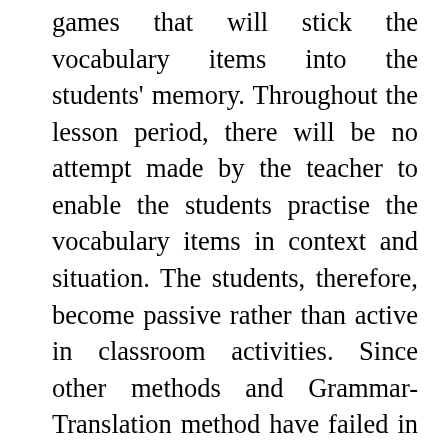games that will stick the vocabulary items into the students' memory. Throughout the lesson period, there will be no attempt made by the teacher to enable the students practise the vocabulary items in context and situation. The students, therefore, become passive rather than active in classroom activities. Since other methods and Grammar-Translation method have failed in the teaching of English vocabulary, the need therefore arises to encourage the use of Total Physical Response method which is learner-centred and practical oriented.